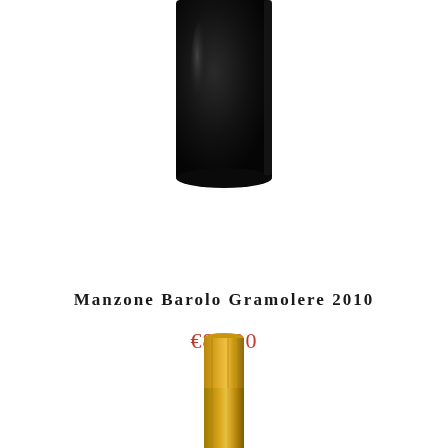[Figure (photo): Bottom portion of a dark wine bottle (Burgundy style, very dark glass) cropped at the top of the page, showing the base and lower body of the bottle against a white background.]
Manzone Barolo Gramolere 2010
€89,00
[Figure (photo): Top portion of a wine bottle with a gold/yellow foil capsule, cropped at the bottom of the page, showing just the neck and foil cap against a white background.]